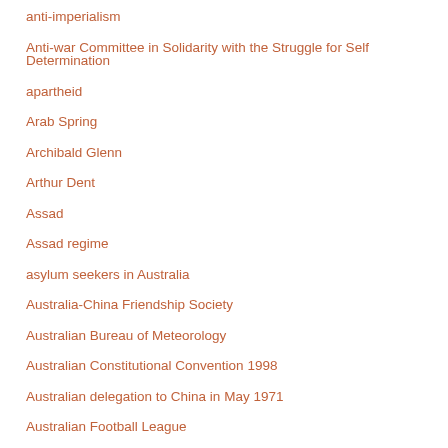anti-imperialism
Anti-war Committee in Solidarity with the Struggle for Self Determination
apartheid
Arab Spring
Archibald Glenn
Arthur Dent
Assad
Assad regime
asylum seekers in Australia
Australia-China Friendship Society
Australian Bureau of Meteorology
Australian Constitutional Convention 1998
Australian delegation to China in May 1971
Australian Football League
Australian Open tennis
Australian Republican Movement